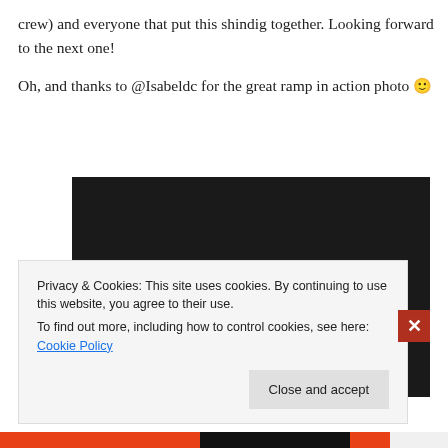crew) and everyone that put this shindig together. Looking forward to the next one!
Oh, and thanks to @Isabeldc for the great ramp in action photo 🙂
[Figure (photo): Three women posing together for a photo in a dark setting, smiling at the camera.]
Privacy & Cookies: This site uses cookies. By continuing to use this website, you agree to their use.
To find out more, including how to control cookies, see here: Cookie Policy
Close and accept